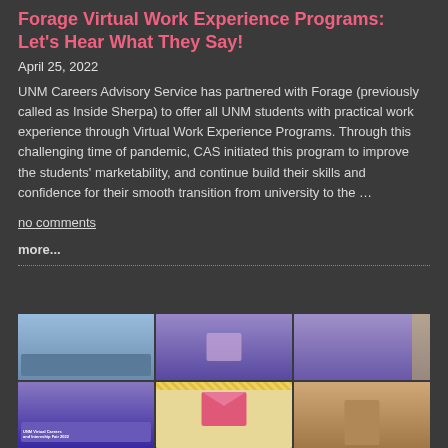Forage Virtual Work Experience Programs: Let's Hear What They Say!
April 25, 2022
UNM Careers Advisory Service has partnered with Forage (previously called as Inside Sherpa) to offer all UNM students with practical work experience through Virtual Work Experience Programs. Through this challenging time of pandemic, CAS initiated this program to improve the students' marketability, and continue build their skills and confidence for their smooth transition from university to the …
no comments
more...
[Figure (photo): A collage of six photos showing virtual meetings, a woman presenting, group video calls, a UNM Virtual Careers and Internship Fair 2022 banner, a thank you envelope graphic, and a woman at a desk.]